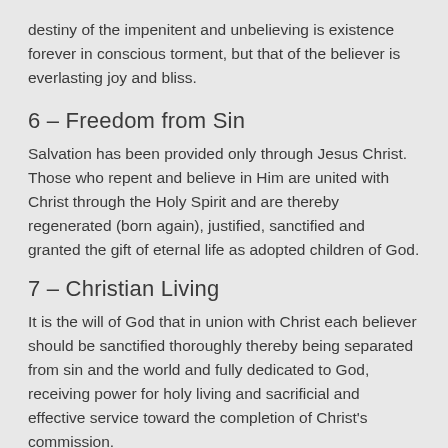destiny of the impenitent and unbelieving is existence forever in conscious torment, but that of the believer is everlasting joy and bliss.
6 – Freedom from Sin
Salvation has been provided only through Jesus Christ. Those who repent and believe in Him are united with Christ through the Holy Spirit and are thereby regenerated (born again), justified, sanctified and granted the gift of eternal life as adopted children of God.
7 – Christian Living
It is the will of God that in union with Christ each believer should be sanctified thoroughly thereby being separated from sin and the world and fully dedicated to God, receiving power for holy living and sacrificial and effective service toward the completion of Christ's commission.